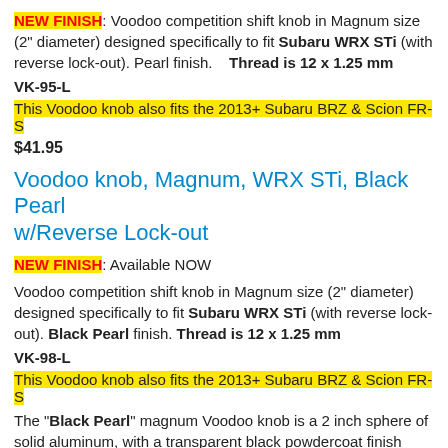NEW FINISH: Voodoo competition shift knob in Magnum size (2" diameter) designed specifically to fit Subaru WRX STi (with reverse lock-out). Pearl finish.    Thread is 12 x 1.25 mm
VK-95-L
This Voodoo knob also fits the 2013+ Subaru BRZ & Scion FR-S
$41.95
Voodoo knob, Magnum, WRX STi, Black Pearl w/Reverse Lock-out
NEW FINISH: Available NOW
Voodoo competition shift knob in Magnum size (2" diameter) designed specifically to fit Subaru WRX STi (with reverse lock-out). Black Pearl finish. Thread is 12 x 1.25 mm
VK-98-L
This Voodoo knob also fits the 2013+ Subaru BRZ & Scion FR-S
The "Black Pearl" magnum Voodoo knob is a 2 inch sphere of solid aluminum, with a transparent black powdercoat finish over a spun knob, similar to our VERY popular Pearl finish but in a darker